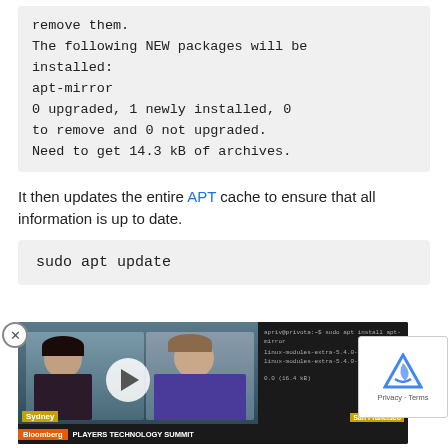remove them.
The following NEW packages will be installed:
apt-mirror
0 upgraded, 1 newly installed, 0 to remove and 0 not upgraded.
Need to get 14.3 kB of archives.
It then updates the entire APT cache to ensure that all information is up to date.
sudo apt update
[Figure (screenshot): Bloomberg TV video overlay showing two news anchors (Sydney and San Francisco locations), with a play button, Bloomberg bar at bottom reading 'PLAYERS TECHNOLOGY SUMMIT', and a reCAPTCHA widget on the right.]